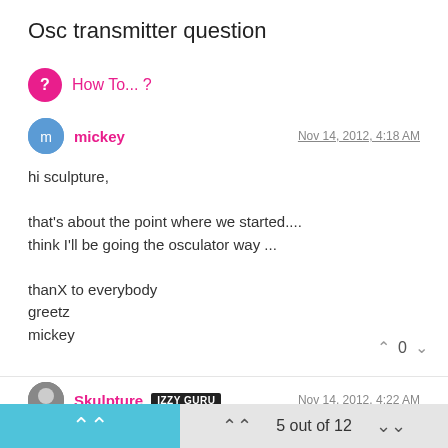Osc transmitter question
How To... ?
Log in to reply
mickey   Nov 14, 2012, 4:18 AM
hi sculpture,

that's about the point where we started....
think I'll be going the osculator way ...

thanX to everybody
greetz
mickey
0
Skulpture  IZZY GURU   Nov 14, 2012, 4:22 AM
Well I hope you get it working I found animata a little tricky to get going but didn't spend much time with it
5 out of 12